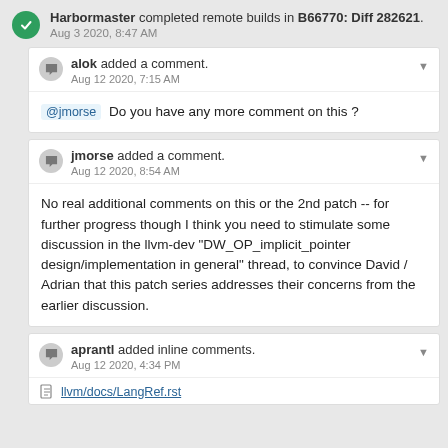Harbormaster completed remote builds in B66770: Diff 282621. Aug 3 2020, 8:47 AM
alok added a comment. Aug 12 2020, 7:15 AM
@jmorse Do you have any more comment on this ?
jmorse added a comment. Aug 12 2020, 8:54 AM
No real additional comments on this or the 2nd patch -- for further progress though I think you need to stimulate some discussion in the llvm-dev "DW_OP_implicit_pointer design/implementation in general" thread, to convince David / Adrian that this patch series addresses their concerns from the earlier discussion.
aprantl added inline comments. Aug 12 2020, 4:34 PM
llvm/docs/LangRef.rst